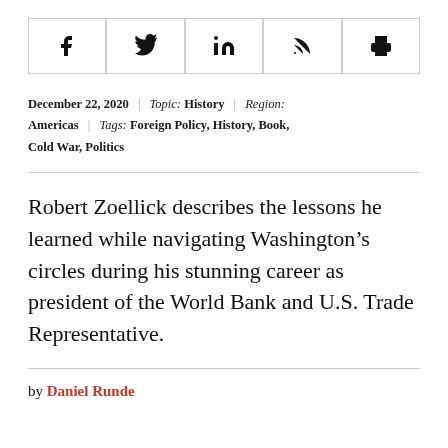[Figure (other): Social media sharing icons bar with Facebook, Twitter, LinkedIn, RSS, and Print icons in bordered boxes]
December 22, 2020 | Topic: History | Region: Americas | Tags: Foreign Policy, History, Book, Cold War, Politics
Robert Zoellick describes the lessons he learned while navigating Washington's circles during his stunning career as president of the World Bank and U.S. Trade Representative.
by Daniel Runde